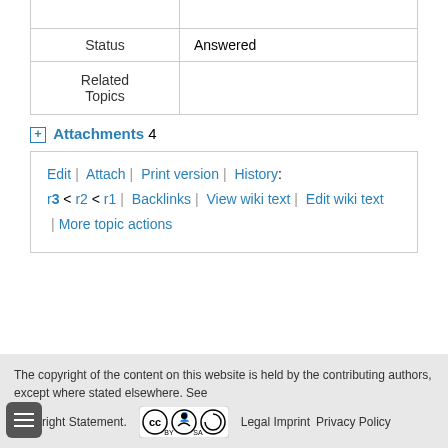| Status | Answered |
| Related Topics |  |
⊞ Attachments 4
Edit | Attach | Print version | History: r3 < r2 < r1 | Backlinks | View wiki text | Edit wiki text | More topic actions
The copyright of the content on this website is held by the contributing authors, except where stated elsewhere. See Copyright Statement. [CC BY-SA] Legal Imprint Privacy Policy